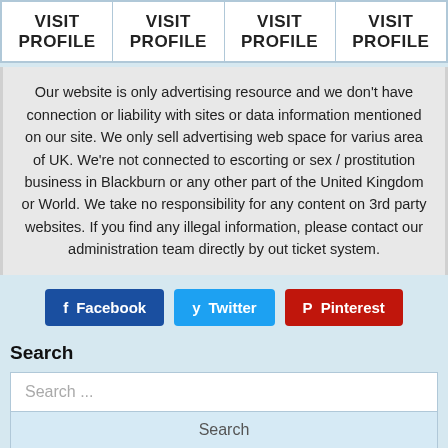| VISIT PROFILE | VISIT PROFILE | VISIT PROFILE | VISIT PROFILE |
| --- | --- | --- | --- |
Our website is only advertising resource and we don't have connection or liability with sites or data information mentioned on our site. We only sell advertising web space for varius area of UK. We're not connected to escorting or sex / prostitution business in Blackburn or any other part of the United Kingdom or World. We take no responsibility for any content on 3rd party websites. If you find any illegal information, please contact our administration team directly by out ticket system.
[Figure (other): Social sharing buttons: Facebook (blue), Twitter (light blue), Pinterest (red)]
Search
Search ...
Search